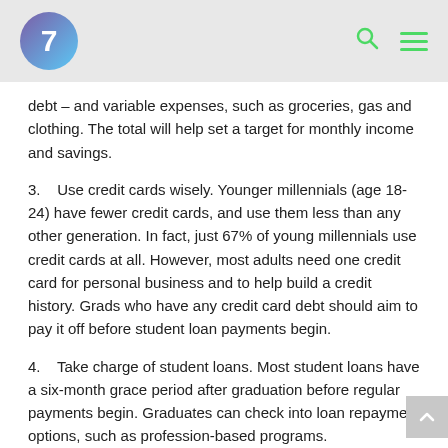7
debt – and variable expenses, such as groceries, gas and clothing. The total will help set a target for monthly income and savings.
3.    Use credit cards wisely. Younger millennials (age 18-24) have fewer credit cards, and use them less than any other generation. In fact, just 67% of young millennials use credit cards at all. However, most adults need one credit card for personal business and to help build a credit history. Grads who have any credit card debt should aim to pay it off before student loan payments begin.
4.    Take charge of student loans. Most student loans have a six-month grace period after graduation before regular payments begin. Graduates can check into loan repayment options, such as profession-based programs.